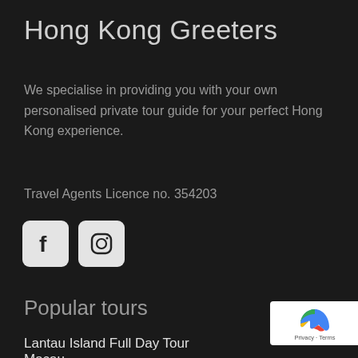Hong Kong Greeters
We specialise in providing you with your own personalised private tour guide for your perfect Hong Kong experience.
Travel Agents Licence no. 354203
[Figure (logo): Facebook and Instagram social media icons in light grey rounded square boxes on dark background]
Popular tours
Lantau Island Full Day Tour
Macau
New Territories Tour